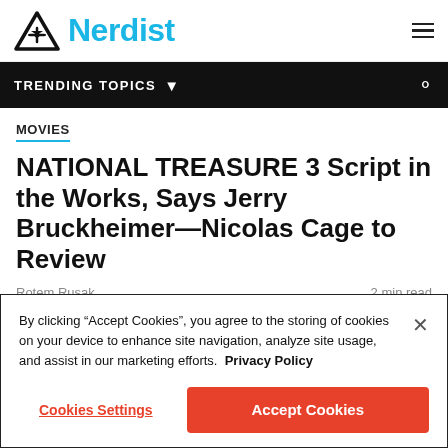Nerdist
TRENDING TOPICS
MOVIES
NATIONAL TREASURE 3 Script in the Works, Says Jerry Bruckheimer—Nicolas Cage to Review
Rotem Rusak   2 min read
By clicking “Accept Cookies”, you agree to the storing of cookies on your device to enhance site navigation, analyze site usage, and assist in our marketing efforts.  Privacy Policy